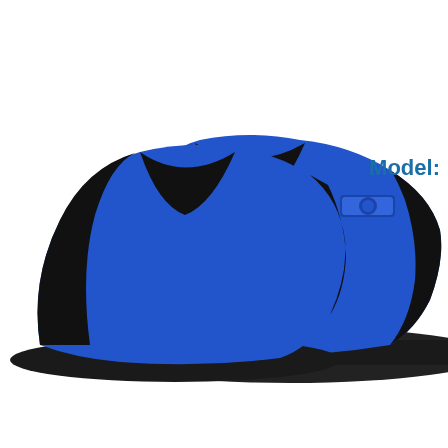[Figure (photo): Blue and black aqua shoes (pair, viewed from side/top), and a smaller image of grey/silver aqua shoes hanging on a display hanger. Both are water shoes with rubber soles.]
Model:
TY8977
AQUA SHOES SIZE 43 A/9